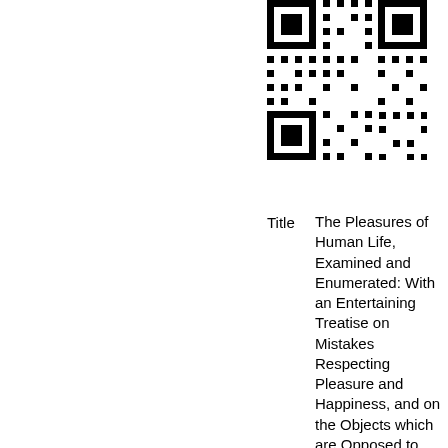[Figure (other): QR code image in the upper right portion of the page]
Title    The Pleasures of Human Life, Examined and Enumerated: With an Entertaining Treatise on Mistakes Respecting Pleasure and Happiness, and on the Objects which are Opposed to the